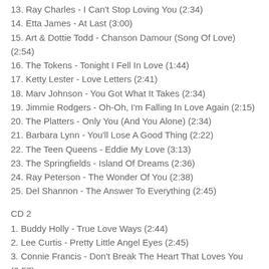13. Ray Charles - I Can't Stop Loving You (2:34)
14. Etta James - At Last (3:00)
15. Art & Dottie Todd - Chanson Damour (Song Of Love) (2:54)
16. The Tokens - Tonight I Fell In Love (1:44)
17. Ketty Lester - Love Letters (2:41)
18. Marv Johnson - You Got What It Takes (2:34)
19. Jimmie Rodgers - Oh-Oh, I'm Falling In Love Again (2:15)
20. The Platters - Only You (And You Alone) (2:34)
21. Barbara Lynn - You'll Lose A Good Thing (2:22)
22. The Teen Queens - Eddie My Love (3:13)
23. The Springfields - Island Of Dreams (2:36)
24. Ray Peterson - The Wonder Of You (2:38)
25. Del Shannon - The Answer To Everything (2:45)
CD 2
1. Buddy Holly - True Love Ways (2:44)
2. Lee Curtis - Pretty Little Angel Eyes (2:45)
3. Connie Francis - Don't Break The Heart That Loves You (2:57)
4. Roy Orbison - Dream Baby (How Long Must I Dream) (2:30)